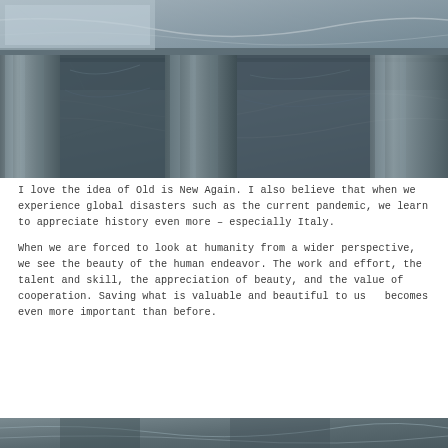[Figure (photo): Close-up interior photo of marble columns and marble floor with swirling grey and white patterns, architectural details of a classical or luxury interior space]
I love the idea of Old is New Again. I also believe that when we experience global disasters such as the current pandemic, we learn to appreciate history even more – especially Italy.
When we are forced to look at humanity from a wider perspective, we see the beauty of the human endeavor. The work and effort, the talent and skill, the appreciation of beauty, and the value of cooperation. Saving what is valuable and beautiful to us  becomes even more important than before.
[Figure (photo): Partial view of another architectural or stone surface photo at the bottom of the page]